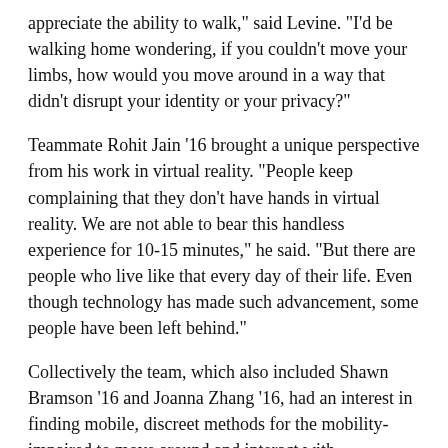appreciate the ability to walk," said Levine. "I'd be walking home wondering, if you couldn't move your limbs, how would you move around in a way that didn't disrupt your identity or your privacy?"
Teammate Rohit Jain '16 brought a unique perspective from his work in virtual reality. "People keep complaining that they don't have hands in virtual reality. We are not able to bear this handless experience for 10-15 minutes," he said. "But there are people who live like that every day of their life. Even though technology has made such advancement, some people have been left behind."
Collectively the team, which also included Shawn Bramson '16 and Joanna Zhang '16, had an interest in finding mobile, discreet methods for the mobility-impaired to move around and interact with surrounding technologies.
Already existing methods like Sip-and-Puff, an assistive technology that disrupts the face...